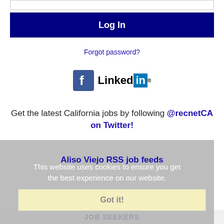[Figure (screenshot): Partial input box at top of login form]
Log In
Forgot password?
[Figure (logo): Facebook and LinkedIn social login icons]
Get the latest California jobs by following @recnetCA on Twitter!
Aliso Viejo RSS job feeds
This website uses cookies to ensure you get the best experience on our website.
Learn more
Got it!
JOB SEEKERS